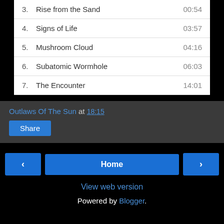3.  Rise from the Sand    00:54
4.  Signs of Life    03:57
5.  Mushroom Cloud    04:16
6.  Subatomic Wormhole    06:03
7.  The Encounter    14:01
Outlaws Of The Sun at 18:15
Share
< Home > View web version Powered by Blogger.